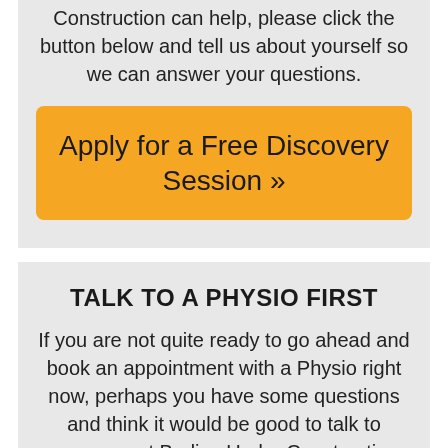Construction can help, please click the button below and tell us about yourself so we can answer your questions.
Apply for a Free Discovery Session »
TALK TO A PHYSIO FIRST
If you are not quite ready to go ahead and book an appointment with a Physio right now, perhaps you have some questions and think it would be good to talk to someone at Bodies Under Construction first so you can be 100% sure that we can help you. Please click